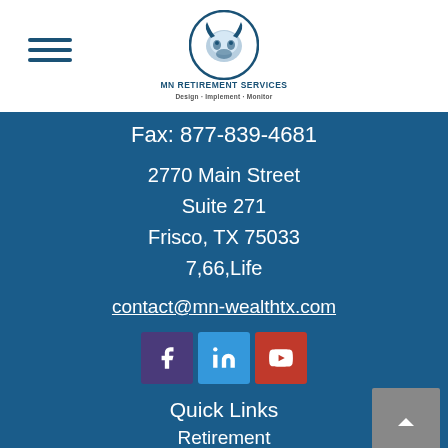[Figure (logo): MN Retirement Services logo — circular icon with blue bull/finance imagery, company name and tagline 'Design · Implement · Monitor']
Fax: 877-839-4681
2770 Main Street
Suite 271
Frisco, TX 75033
7,66,Life
contact@mn-wealthtx.com
[Figure (infographic): Social media icons: Facebook (purple), LinkedIn (blue), YouTube (red)]
Quick Links
Retirement
Investment
All Articles
All Videos